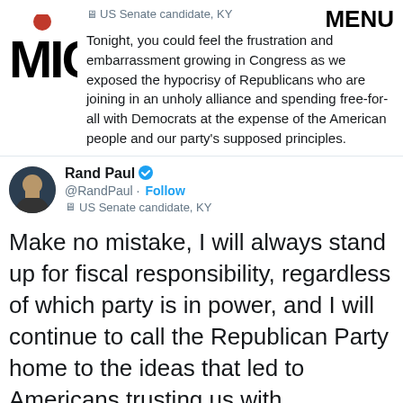[Figure (logo): MIC logo with red circle accent on top]
US Senate candidate, KY
MENU
Tonight, you could feel the frustration and embarrassment growing in Congress as we exposed the hypocrisy of Republicans who are joining in an unholy alliance and spending free-for-all with Democrats at the expense of the American people and our party's supposed principles.
[Figure (photo): Circular avatar photo of Rand Paul]
Rand Paul @RandPaul · Follow US Senate candidate, KY
Make no mistake, I will always stand up for fiscal responsibility, regardless of which party is in power, and I will continue to call the Republican Party home to the ideas that led to Americans trusting us with government in the first place.
6:53 AM · Feb 9, 2018
4.5K   Reply   Copy link